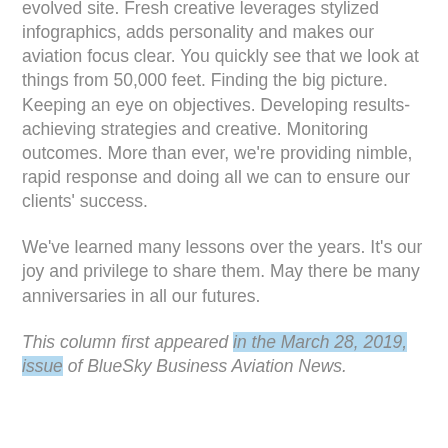evolved site. Fresh creative leverages stylized infographics, adds personality and makes our aviation focus clear. You quickly see that we look at things from 50,000 feet. Finding the big picture. Keeping an eye on objectives. Developing results-achieving strategies and creative. Monitoring outcomes. More than ever, we're providing nimble, rapid response and doing all we can to ensure our clients' success.
We've learned many lessons over the years. It's our joy and privilege to share them. May there be many anniversaries in all our futures.
This column first appeared in the March 28, 2019, issue of BlueSky Business Aviation News.